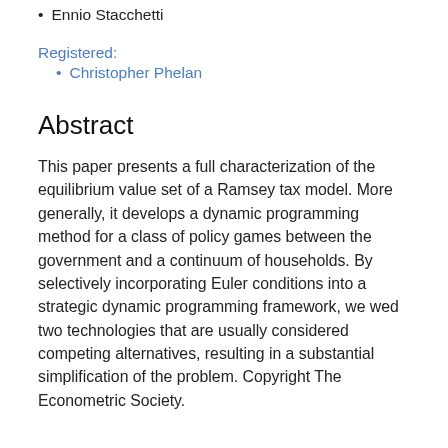Ennio Stacchetti
Registered:
Christopher Phelan
Abstract
This paper presents a full characterization of the equilibrium value set of a Ramsey tax model. More generally, it develops a dynamic programming method for a class of policy games between the government and a continuum of households. By selectively incorporating Euler conditions into a strategic dynamic programming framework, we wed two technologies that are usually considered competing alternatives, resulting in a substantial simplification of the problem. Copyright The Econometric Society.